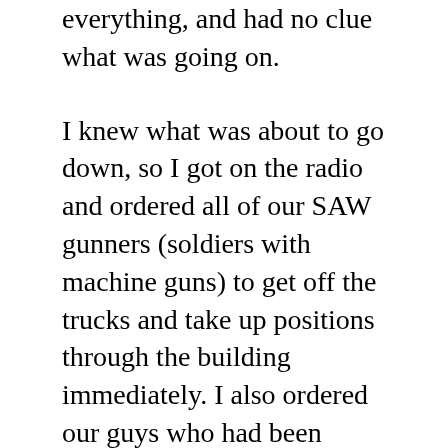everything, and had no clue what was going on.
I knew what was about to go down, so I got on the radio and ordered all of our SAW gunners (soldiers with machine guns) to get off the trucks and take up positions through the building immediately. I also ordered our guys who had been standing outside the meeting room to come in, and ordered the gunners in the trucks to be up and ready. The Iraqi Army Captain heard me on the radio, saw the guys come in, and stared at me. I just shook my head no, and he seemed to